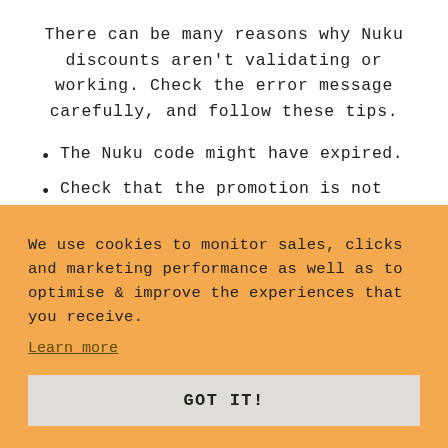There can be many reasons why Nuku discounts aren't validating or working. Check the error message carefully, and follow these tips.
The Nuku code might have expired.
Check that the promotion is not only applicable to sale items, and can be used on all items regardless of price or range.
We use cookies to monitor sales, clicks and marketing performance as well as to optimise & improve the experiences that you receive.
Learn more
GOT IT!
You have not spent the minimum